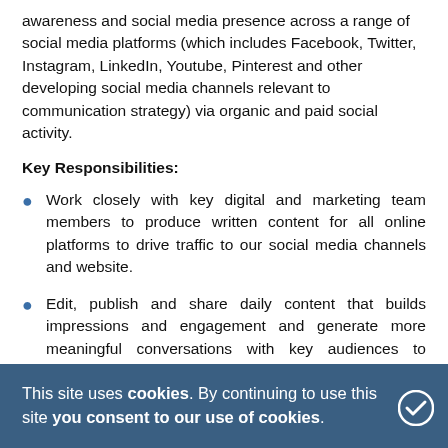awareness and social media presence across a range of social media platforms (which includes Facebook, Twitter, Instagram, LinkedIn, Youtube, Pinterest and other developing social media channels relevant to communication strategy) via organic and paid social activity.
Key Responsibilities:
Work closely with key digital and marketing team members to produce written content for all online platforms to drive traffic to our social media channels and website.
Edit, publish and share daily content that builds impressions and engagement and generate more meaningful conversations with key audiences to increase followers and also to increase our brand awareness and online web shop sales.
Produce creative content across a range of social media channels and platforms (e.g. copy, articles, photography, video etc).
This site uses cookies. By continuing to use this site you consent to our use of cookies.